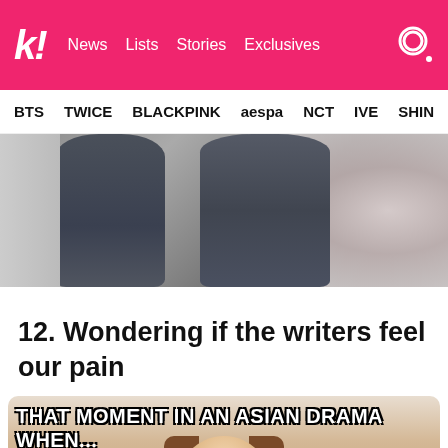k! News Lists Stories Exclusives
BTS TWICE BLACKPINK aespa NCT IVE SHIN...
[Figure (photo): Drama scene showing two figures, one in a suit and another partially visible on the right with a blurred/bokeh effect]
12. Wondering if the writers feel our pain
[Figure (photo): Meme image with text 'THAT MOMENT IN AN ASIAN DRAMA WHEN...' overlaid on an image of a young woman with brown hair looking forward]